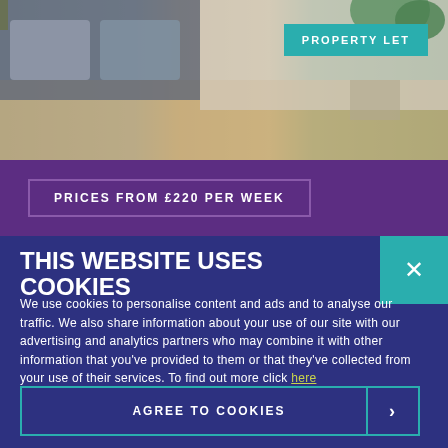[Figure (photo): Bedroom interior photo showing pillows, headboard, wooden floor and plant in background]
PROPERTY LET
PRICES FROM £220 PER WEEK
THIS WEBSITE USES COOKIES
We use cookies to personalise content and ads and to analyse our traffic. We also share information about your use of our site with our advertising and analytics partners who may combine it with other information that you've provided to them or that they've collected from your use of their services. To find out more click here
AGREE TO COOKIES